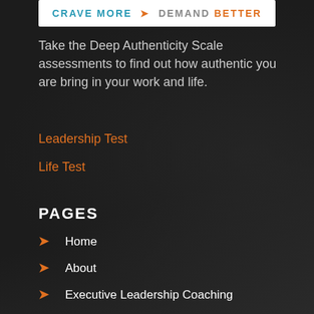[Figure (other): White banner with text 'CRAVE MORE → DEMAND BETTER' in teal, orange arrow, and orange text]
Take the Deep Authenticity Scale assessments to find out how authentic you are bring in your work and life.
Leadership Test
Life Test
PAGES
Home
About
Executive Leadership Coaching
Business Leadership Coaching